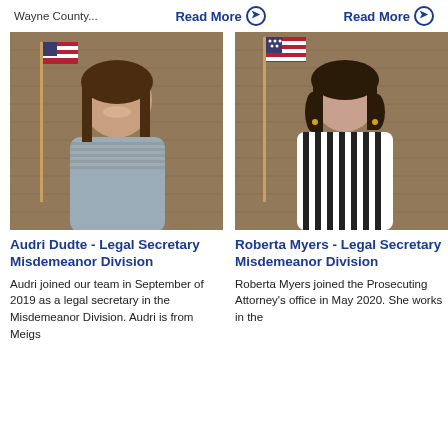Wayne County...
Read More ➔
Read More ➔
[Figure (photo): Portrait photo of Audri Dudte, a woman with long brown hair, smiling, standing in front of an American flag and brick wall background.]
[Figure (photo): Portrait photo of Roberta Myers, a woman with dark hair, smiling, wearing a black and white striped top, standing in front of an American flag and brick wall background.]
Audri Dudte - Legal Secretary Misdemeanor Division
Roberta Myers - Legal Secretary Misdemeanor Division
Audri joined our team in September of 2019 as a legal secretary in the Misdemeanor Division. Audri is from Meigs
Roberta Myers joined the Prosecuting Attorney's office in May 2020. She works in the